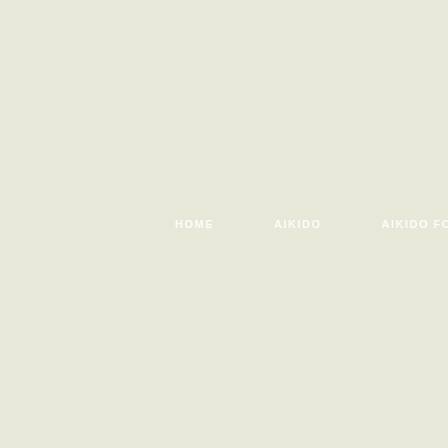HOME    AIKIDO    AIKIDO FOR CHILDREN    AIKI...